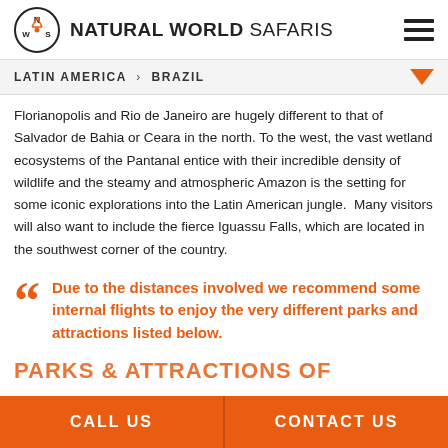NATURAL WORLD SAFARIS
LATIN AMERICA > BRAZIL
Florianopolis and Rio de Janeiro are hugely different to that of Salvador de Bahia or Ceara in the north. To the west, the vast wetland ecosystems of the Pantanal entice with their incredible density of wildlife and the steamy and atmospheric Amazon is the setting for some iconic explorations into the Latin American jungle.  Many visitors will also want to include the fierce Iguassu Falls, which are located in the southwest corner of the country.
Due to the distances involved we recommend some internal flights to enjoy the very different parks and attractions listed below.
CALL US | CONTACT US